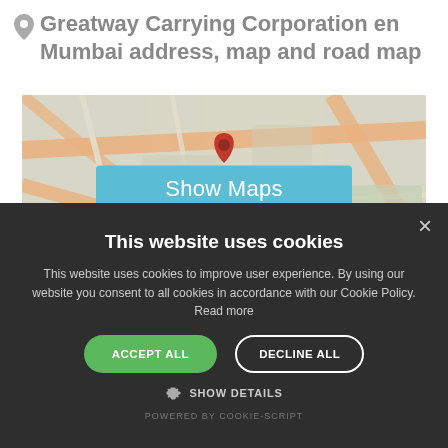Greatway Carrying Corporation en Mumbai address, map and road map
[Figure (map): Blurred street map showing Mumbai area with a red map pin marker in the center, over a 'Show Maps' button overlay]
This website uses cookies
This website uses cookies to improve user experience. By using our website you consent to all cookies in accordance with our Cookie Policy. Read more
ACCEPT ALL
DECLINE ALL
SHOW DETAILS
POWERED BY COOKIE-SCRIPT